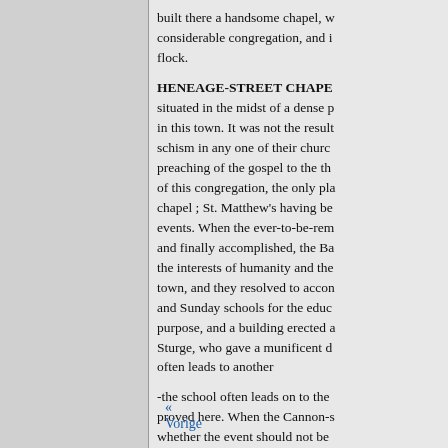built there a handsome chapel, w considerable congregation, and i flock.
HENEAGE-STREET CHAPE
situated in the midst of a dense p in this town. It was not the result schism in any one of their churc preaching of the gospel to the th of this congregation, the only pla chapel ; St. Matthew's having be events. When the ever-to-be-rem and finally accomplished, the Ba the interests of humanity and the town, and they resolved to accon and Sunday schools for the educ purpose, and a building erected a Sturge, who gave a munificent d often leads to another
-the school often leads on to the proved here. When the Cannon-s whether the event should not be
« Vorige